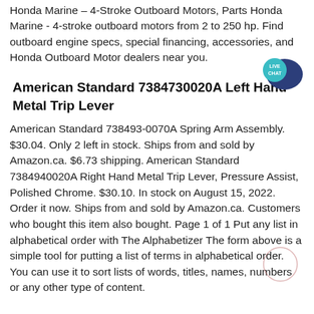Honda Marine – 4-Stroke Outboard Motors, Parts Honda Marine - 4-stroke outboard motors from 2 to 250 hp. Find outboard engine specs, special financing, accessories, and Honda Outboard Motor dealers near you.
[Figure (illustration): Live Chat speech bubble icon in teal/dark blue with text LIVE CHAT]
American Standard 7384730020A Left Hand Metal Trip Lever
American Standard 738493-0070A Spring Arm Assembly. $30.04. Only 2 left in stock. Ships from and sold by Amazon.ca. $6.73 shipping. American Standard 7384940020A Right Hand Metal Trip Lever, Pressure Assist, Polished Chrome. $30.10. In stock on August 15, 2022. Order it now. Ships from and sold by Amazon.ca. Customers who bought this item also bought. Page 1 of 1 Put any list in alphabetical order with The Alphabetizer The form above is a simple tool for putting a list of terms in alphabetical order. You can use it to sort lists of words, titles, names, numbers or any other type of content.
[Figure (illustration): Faint circle annotation overlaid on text near 'August 15']